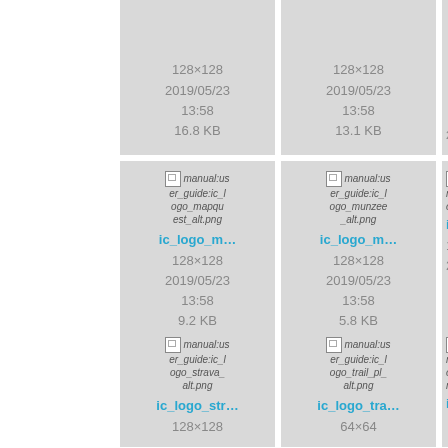[Figure (screenshot): File browser grid view showing image file cards. Top row (partial): two cards showing 128×128, 2019/05/23, 13:58, 16.8 KB and 128×128, 2019/05/23, 13:58, 13.1 KB, plus partial third card. Middle row: ic_logo_mapquest_alt.png card (128×128, 2019/05/23, 13:58, 9.2 KB), ic_logo_munzee_alt.png card (128×128, 2019/05/23, 13:58, 5.8 KB), partial third card. Bottom row: ic_logo_strava_alt.png card (128×128), ic_logo_trail_pl_alt.png card (64×64), partial third card.]